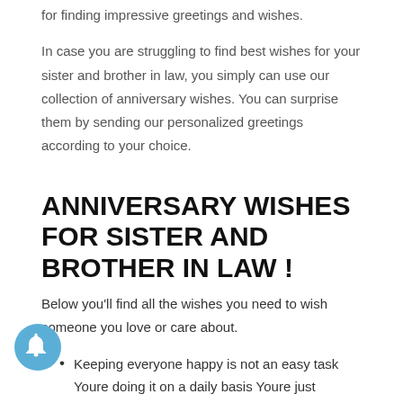for finding impressive greetings and wishes.
In case you are struggling to find best wishes for your sister and brother in law, you simply can use our collection of anniversary wishes. You can surprise them by sending our personalized greetings according to your choice.
ANNIVERSARY WISHES FOR SISTER AND BROTHER IN LAW !
Below you'll find all the wishes you need to wish someone you love or care about.
Keeping everyone happy is not an easy task Youre doing it on a daily basis Youre just awesome Happy anniversary
Happy st wedding anniversary dear Enjoy this special day of